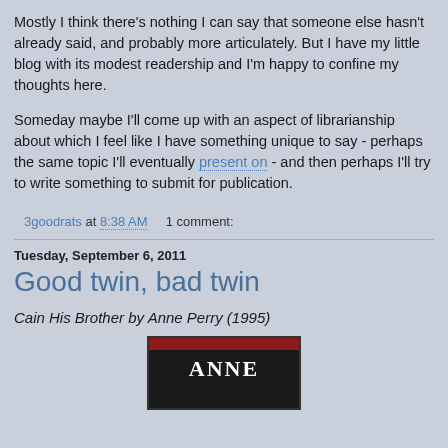Mostly I think there's nothing I can say that someone else hasn't already said, and probably more articulately. But I have my little blog with its modest readership and I'm happy to confine my thoughts here.
Someday maybe I'll come up with an aspect of librarianship about which I feel like I have something unique to say - perhaps the same topic I'll eventually present on - and then perhaps I'll try to write something to submit for publication.
3goodrats at 8:38 AM    1 comment:
Tuesday, September 6, 2011
Good twin, bad twin
Cain His Brother by Anne Perry (1995)
[Figure (photo): Book cover showing 'ANNE' text in white letters on dark background with red bar at top]